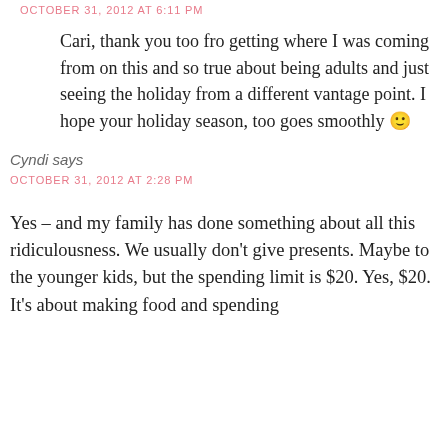OCTOBER 31, 2012 AT 6:11 PM
Cari, thank you too fro getting where I was coming from on this and so true about being adults and just seeing the holiday from a different vantage point. I hope your holiday season, too goes smoothly 🙂
Cyndi says
OCTOBER 31, 2012 AT 2:28 PM
Yes – and my family has done something about all this ridiculousness. We usually don't give presents. Maybe to the younger kids, but the spending limit is $20. Yes, $20. It's about making food and spending